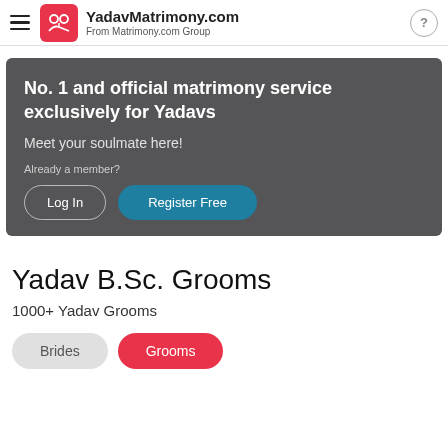YadavMatrimony.com — From Matrimony.com Group
[Figure (screenshot): Promotional banner with dark gray background. Title: 'No. 1 and official matrimony service exclusively for Yadavs'. Subtitle: 'Meet your soulmate here!'. Text: 'Already a member?'. Two buttons: 'Log In' (outlined) and 'Register Free' (teal filled).]
Yadav B.Sc. Grooms
1000+ Yadav Grooms
Brides  Grooms